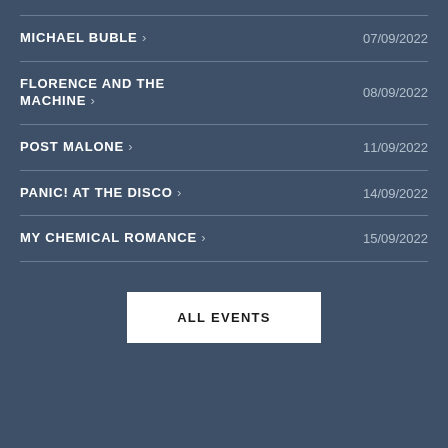MICHAEL BUBLE > 07/09/2022
FLORENCE AND THE MACHINE > 08/09/2022
POST MALONE > 11/09/2022
PANIC! AT THE DISCO > 14/09/2022
MY CHEMICAL ROMANCE > 15/09/2022
ALL EVENTS